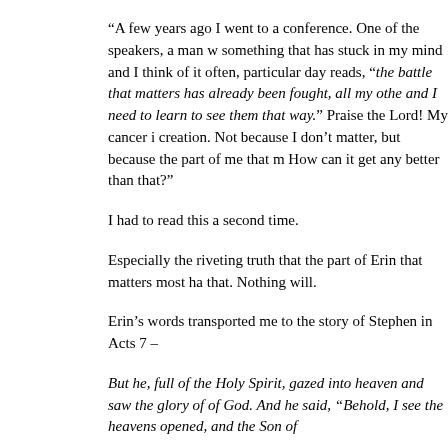“A few years ago I went to a conference. One of the speakers, a man w something that has stuck in my mind and I think of it often, particular day reads, “the battle that matters has already been fought, all my othe and I need to learn to see them that way.” Praise the Lord! My cancer i creation. Not because I don’t matter, but because the part of me that m How can it get any better than that?”
I had to read this a second time.
Especially the riveting truth that the part of Erin that matters most ha that. Nothing will.
Erin’s words transported me to the story of Stephen in Acts 7 –
But he, full of the Holy Spirit, gazed into heaven and saw the glory of of God. And he said, “Behold, I see the heavens opened, and the Son of
When faced with the most intense challenge and conflict of his life… p was in the center of God’s care. He was at home with his Father. The couldn’t change that.